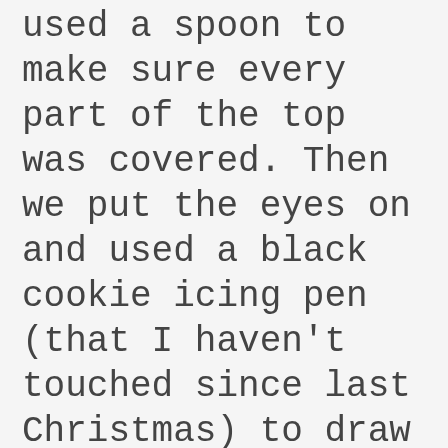used a spoon to make sure every part of the top was covered. Then we put the eyes on and used a black cookie icing pen (that I haven't touched since last Christmas) to draw the mouth, hair, etc. If you put the rice krispie treats on parchment paper to dry for about 10 minutes, you'll be ready to devour.